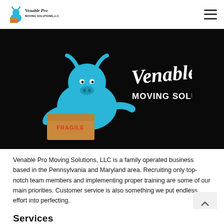[Figure (logo): Venable Pro Moving Solutions LLC logo in navigation bar - small version with blue bull mascot holding a box]
[Figure (logo): Large Venable Pro Moving Solutions LLC logo on black background - blue muscular bull mascot carrying a fragile box, with script text 'Venable Pro' and 'MOVING SOLUTIONS, LLC']
Venable Pro Moving Solutions, LLC is a family operated business based in the Pennsylvania and Maryland area. Recruiting only top-notch team members and implementing proper training are some of our main priorities. Customer service is also something we put endless effort into perfecting.
Services